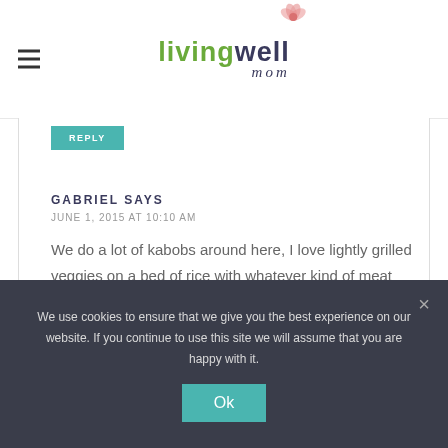[Figure (logo): Living Well Mom logo with green and dark text and pink flower]
REPLY
GABRIEL SAYS
JUNE 1, 2015 AT 10:10 AM
We do a lot of kabobs around here, I love lightly grilled veggies on a bed of rice with whatever kind of meat we have.
REPLY
We use cookies to ensure that we give you the best experience on our website. If you continue to use this site we will assume that you are happy with it.
Ok